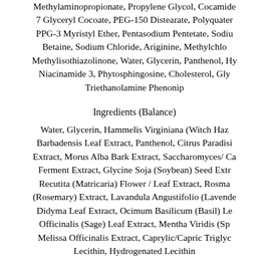Methylaminopropionate, Propylene Glycol, Cocamide 7 Glyceryl Cocoate, PEG-150 Distearate, Polyquater PPG-3 Myristyl Ether, Pentasodium Pentetate, Sodiu Betaine, Sodium Chloride, Ariginine, Methylchlo Methylisothiazolinone, Water, Glycerin, Panthenol, Hy Niacinamide 3, Phytosphingosine, Cholesterol, Gly Triethanolamine Phenonip
Ingredients (Balance)
Water, Glycerin, Hammelis Virginiana (Witch Haz Barbadensis Leaf Extract, Panthenol, Citrus Paradisi Extract, Morus Alba Bark Extract, Saccharomyces/ Ca Ferment Extract, Glycine Soja (Soybean) Seed Extr Recutita (Matricaria) Flower / Leaf Extract, Rosma (Rosemary) Extract, Lavandula Angustifolio (Lavende Didyma Leaf Extract, Ocimum Basilicum (Basil) Le Officinalis (Sage) Leaf Extract, Mentha Viridis (Sp Melissa Officinalis Extract, Caprylic/Capric Triglyc Lecithin, Hydrogenated Lecithin